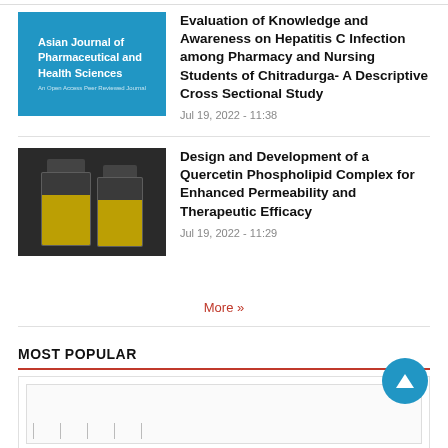Evaluation of Knowledge and Awareness on Hepatitis C Infection among Pharmacy and Nursing Students of Chitradurga- A Descriptive Cross Sectional Study
Jul 19, 2022 - 11:38
[Figure (photo): Two glass jars containing yellow substance on dark background]
Design and Development of a Quercetin Phospholipid Complex for Enhanced Permeability and Therapeutic Efficacy
Jul 19, 2022 - 11:29
More »
MOST POPULAR